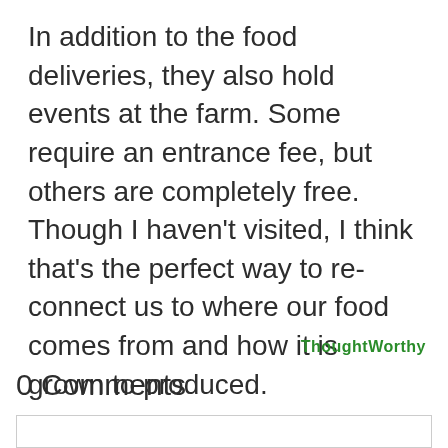In addition to the food deliveries, they also hold events at the farm. Some require an entrance fee, but others are completely free. Though I haven't visited, I think that's the perfect way to re-connect us to where our food comes from and how it is grown to produced.
[Figure (logo): ThoughtWorthy watermark text in green handwritten style]
0 Comments